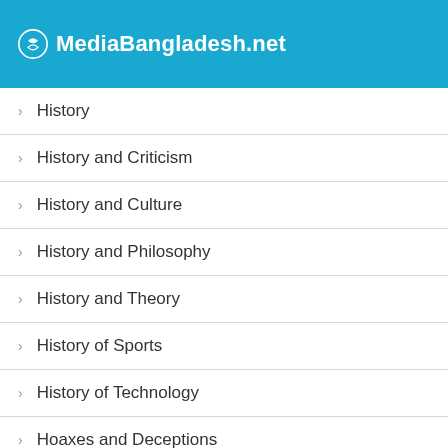MediaBangladesh.net
History
History and Criticism
History and Culture
History and Philosophy
History and Theory
History of Sports
History of Technology
Hoaxes and Deceptions
Hockey
Holidays